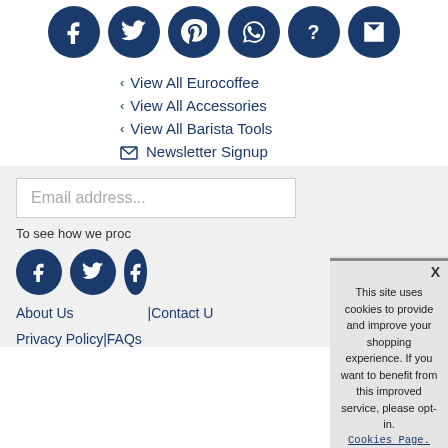[Figure (illustration): Row of 6 circular dark blue social media icon buttons: Facebook, Twitter, Pinterest, WhatsApp, question mark (help), and email envelope]
‹ View All Eurocoffee
‹ View All Accessories
‹ View All Barista Tools
✉ Newsletter Signup
Email address...
To see how we proc
[Figure (illustration): Two circular dark blue social media icon buttons visible: Facebook and Twitter]
About Us
|Contact U
Privacy Policy|FAQs
This site uses cookies to provide and improve your shopping experience. If you want to benefit from this improved service, please opt-in. Cookies Page. I opt-in to a better browsing experience
ACCEPT COOKIES